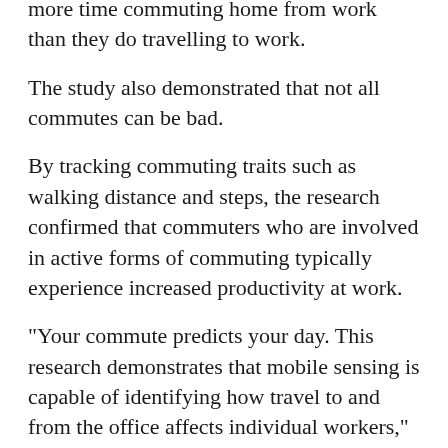more time commuting home from work than they do travelling to work.
The study also demonstrated that not all commutes can be bad.
By tracking commuting traits such as walking distance and steps, the research confirmed that commuters who are involved in active forms of commuting typically experience increased productivity at work.
"Your commute predicts your day. This research demonstrates that mobile sensing is capable of identifying how travel to and from the office affects individual workers," said Andrew Campbell, the lead researcher and co-author of the study.
The research also shows that this mobile sensing...